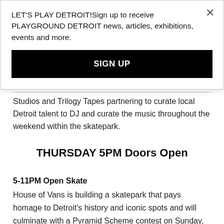LET'S PLAY DETROIT!Sign up to receive PLAYGROUND DETROIT news, articles, exhibitions, events and more.
SIGN UP
Studios and Trilogy Tapes partnering to curate local Detroit talent to DJ and curate the music throughout the weekend within the skatepark.
THURSDAY 5PM Doors Open
5-11PM Open Skate
House of Vans is building a skatepark that pays homage to Detroit's history and iconic spots and will culminate with a Pyramid Scheme contest on Sunday, January 27th at 5pm. If